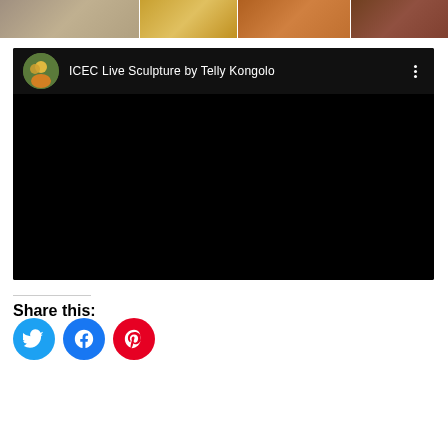[Figure (photo): A horizontal strip of four photos showing people and artwork at what appears to be an art event or exhibition]
[Figure (screenshot): Embedded YouTube video player showing 'ICEC Live Sculpture by Telly Kongolo' with a thumbnail avatar of people and black video area]
Share this:
[Figure (infographic): Three social share buttons: Twitter (blue bird icon), Facebook (blue f icon), Pinterest (red P icon)]